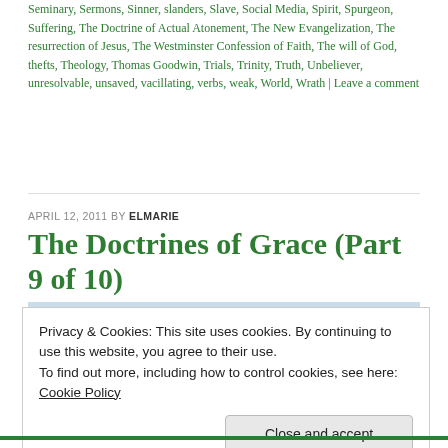Seminary, Sermons, Sinner, slanders, Slave, Social Media, Spirit, Spurgeon, Suffering, The Doctrine of Actual Atonement, The New Evangelization, The resurrection of Jesus, The Westminster Confession of Faith, The will of God, thefts, Theology, Thomas Goodwin, Trials, Trinity, Truth, Unbeliever, unresolvable, unsaved, vacillating, verbs, weak, World, Wrath | Leave a comment
APRIL 12, 2011 BY ELMARIE
The Doctrines of Grace (Part 9 of 10)
[Figure (photo): Sky with clouds, light blue and white tones]
Privacy & Cookies: This site uses cookies. By continuing to use this website, you agree to their use.
To find out more, including how to control cookies, see here: Cookie Policy
[Close and accept button]